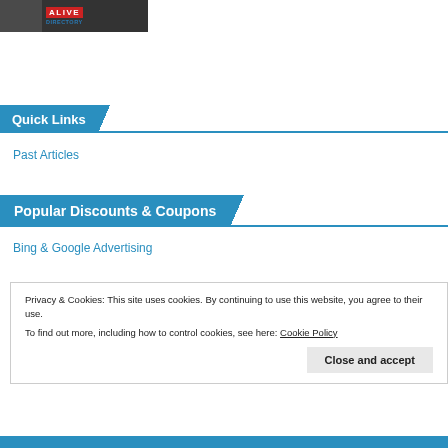[Figure (logo): Banner image showing a person and 'Alive Directory' logo with red text and blue subtitle]
Quick Links
Past Articles
Popular Discounts & Coupons
Bing & Google Advertising
Privacy & Cookies: This site uses cookies. By continuing to use this website, you agree to their use.
To find out more, including how to control cookies, see here: Cookie Policy
Close and accept